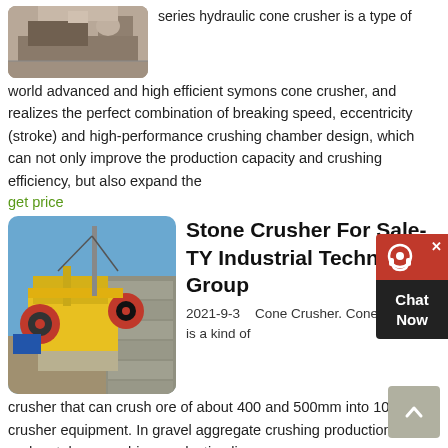[Figure (photo): Photo of a cone crusher machine in outdoor setting]
series hydraulic cone crusher is a type of world advanced and high efficient symons cone crusher, and realizes the perfect combination of breaking speed, eccentricity (stroke) and high-performance crushing chamber design, which can not only improve the production capacity and crushing efficiency, but also expand the
get price
[Figure (photo): Photo of a yellow jaw crusher machine on a construction/quarry site with stone wall background]
Stone Crusher For Sale-TY Industrial Technology Group
2021-9-3   Cone Crusher. Cone crusher is a kind of crusher that can crush ore of about 400 and 500mm into 10-30mm crusher equipment. In gravel aggregate crushing production line and metal ore crushing production line, cone